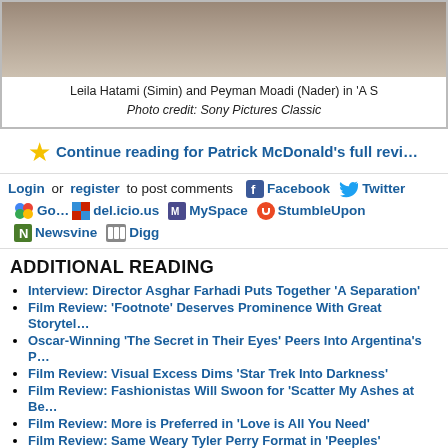[Figure (photo): Photo of Leila Hatami (Simin) and Peyman Moadi (Nader) sitting together, from 'A Separation']
Leila Hatami (Simin) and Peyman Moadi (Nader) in 'A S
Photo credit: Sony Pictures Classic
★ Continue reading for Patrick McDonald's full revi…
Login or register to post comments   Facebook   Twitter   Go…   del.icio.us   MySpace   StumbleUpon   Newsvine   Digg
ADDITIONAL READING
Interview: Director Asghar Farhadi Puts Together 'A Separation'
Film Review: 'Footnote' Deserves Prominence With Great Storytel…
Oscar-Winning 'The Secret in Their Eyes' Peers Into Argentina's P…
Film Review: Visual Excess Dims 'Star Trek Into Darkness'
Film Review: Fashionistas Will Swoon for 'Scatter My Ashes at Be…
Film Review: More is Preferred in 'Love is All You Need'
Film Review: Same Weary Tyler Perry Format in 'Peeples'
Film Review: Oceanic Adventure of 'Kon-Tiki' Still Enthralls
Film Review: Profiling Transforms 'The Reluctant Fundamentalist'…
Film Review: Phony Emotional Connections Trip Up 'Arthur Newm…
Film Review: Turn Down the Invitation to 'The Big Wedding'